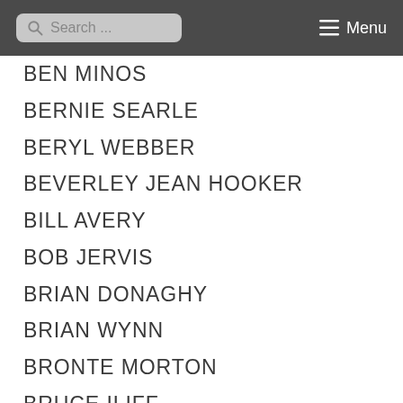Search ... Menu
BEN MINOS
BERNIE SEARLE
BERYL WEBBER
BEVERLEY JEAN HOOKER
BILL AVERY
BOB JERVIS
BRIAN DONAGHY
BRIAN WYNN
BRONTE MORTON
BRUCE ILIFF
BUDD SEVERS
CAMERON BEST